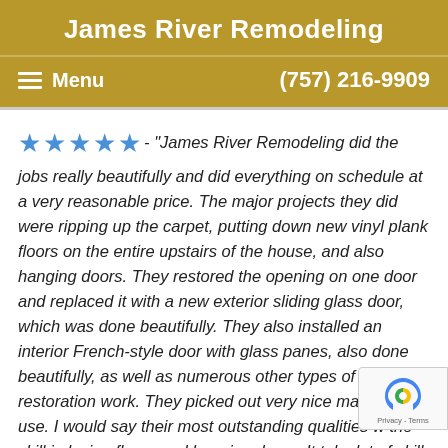James River Remodeling
Menu   (757) 216-9909
★★★★★ - "James River Remodeling did the jobs really beautifully and did everything on schedule at a very reasonable price. The major projects they did were ripping up the carpet, putting down new vinyl plank floors on the entire upstairs of the house, and also hanging doors. They restored the opening on one door and replaced it with a new exterior sliding glass door, which was done beautifully. They also installed an interior French-style door with glass panes, also done beautifully, as well as numerous other types of restoration work. They picked out very nice material to use. I would say their most outstanding qualities w the skill in laying floors and hanging doors. It take lot of skill and they did it very beautifully. They alsu